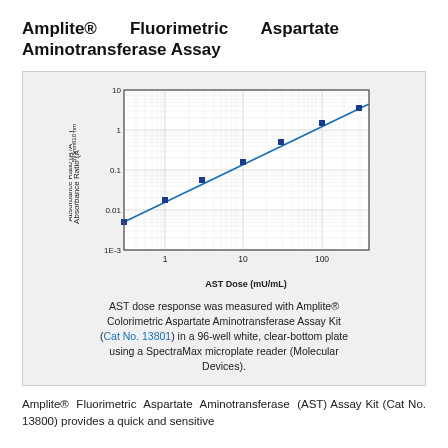Amplite® Fluorimetric Aspartate Aminotransferase Assay
[Figure (continuous-plot): Log-log dose response curve for AST (Aspartate Aminotransferase). X-axis: AST Dose (mU/mL) from ~0.3 to ~400 on log scale with ticks at 1, 10, 100. Y-axis: Absorbance Ratio (A575nm/A610nm) from 1E-3 to 10 on log scale. Blue filled square data points connected by a blue line showing linear dose-response on log-log scale.]
AST dose response was measured with Amplite® Colorimetric Aspartate Aminotransferase Assay Kit (Cat No. 13801) in a 96-well white, clear-bottom plate using a SpectraMax microplate reader (Molecular Devices).
Amplite® Fluorimetric Aspartate Aminotransferase (AST) Assay Kit (Cat No. 13800) provides a quick and sensitive